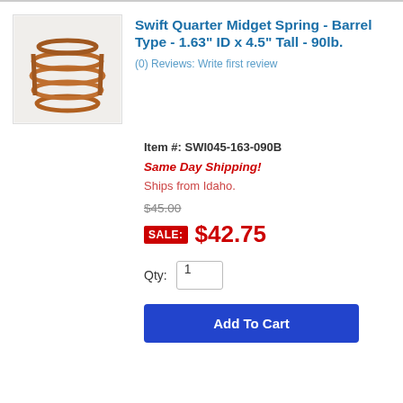[Figure (photo): Photo of a copper-colored barrel type coil spring for Swift Quarter Midget]
Swift Quarter Midget Spring - Barrel Type - 1.63" ID x 4.5" Tall - 90lb.
(0) Reviews: Write first review
Item #: SWI045-163-090B
Same Day Shipping!
Ships from Idaho.
$45.00
SALE: $42.75
Qty: 1
Add To Cart